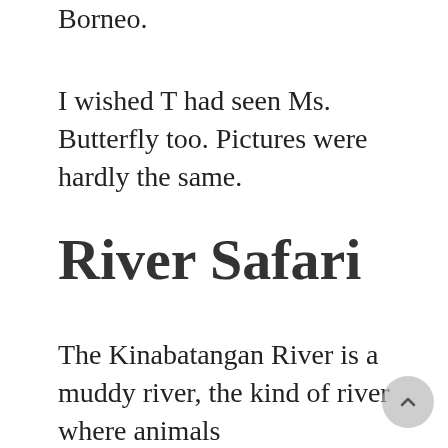Borneo.
I wished T had seen Ms. Butterfly too. Pictures were hardly the same.
River Safari
The Kinabatangan River is a muddy river, the kind of river where animals